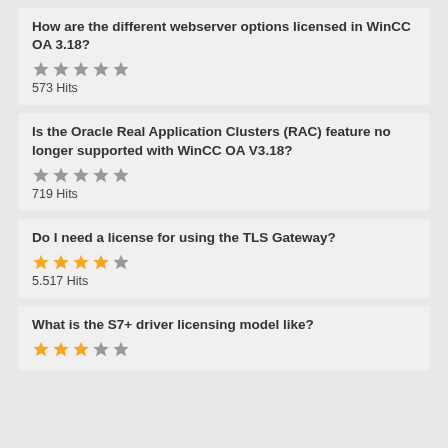How are the different webserver options licensed in WinCC OA 3.18? — 573 Hits
Is the Oracle Real Application Clusters (RAC) feature no longer supported with WinCC OA V3.18? — 719 Hits
Do I need a license for using the TLS Gateway? — 5.517 Hits
What is the S7+ driver licensing model like?